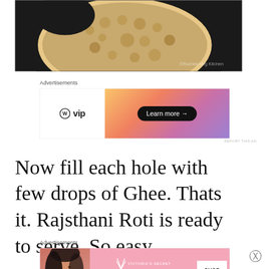[Figure (photo): Photo of a round flatbread (Rajsthani Roti) on a dark plate/pan, partially eaten, with a watermark in the bottom right corner.]
Advertisements
[Figure (other): Advertisement banner for WordPress VIP with a gradient orange-pink background and a 'Learn more' button.]
REPORT THIS AD
Now fill each hole with few drops of Ghee. Thats it. Rajsthani Roti is ready to serve. So easy
Advertisements
[Figure (other): Advertisement banner for Victoria's Secret featuring a model on the left, 'SHOP THE COLLECTION' text, and a 'SHOP NOW' button.]
REPORT THIS AD